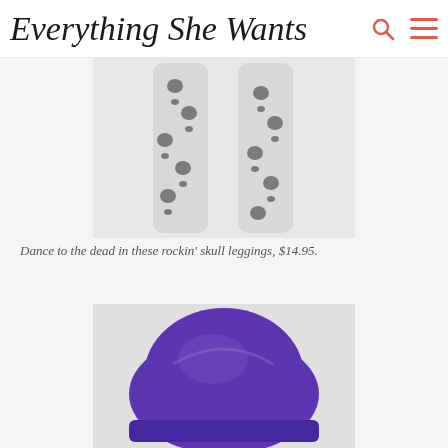Everything She Wants
[Figure (photo): Skull-patterned leggings shown as two legs, white background with black skull pattern]
Dance to the dead in these rockin' skull leggings, $14.95.
[Figure (photo): Purple knit beanie hat shown on white/light background]